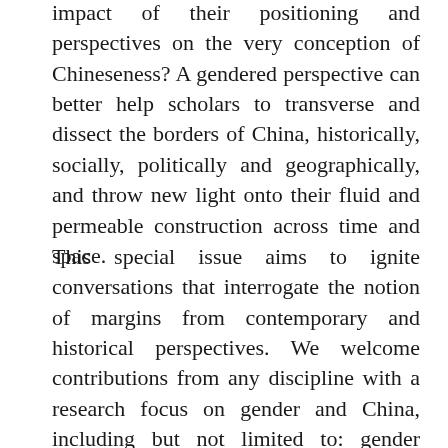impact of their positioning and perspectives on the very conception of Chineseness? A gendered perspective can better help scholars to transverse and dissect the borders of China, historically, socially, politically and geographically, and throw new light onto their fluid and permeable construction across time and space.
This special issue aims to ignite conversations that interrogate the notion of margins from contemporary and historical perspectives. We welcome contributions from any discipline with a research focus on gender and China, including but not limited to: gender studies, media studies, cultural studies, film studies,